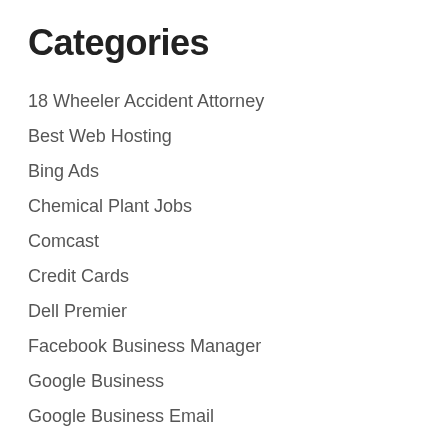Categories
18 Wheeler Accident Attorney
Best Web Hosting
Bing Ads
Chemical Plant Jobs
Comcast
Credit Cards
Dell Premier
Facebook Business Manager
Google Business
Google Business Email